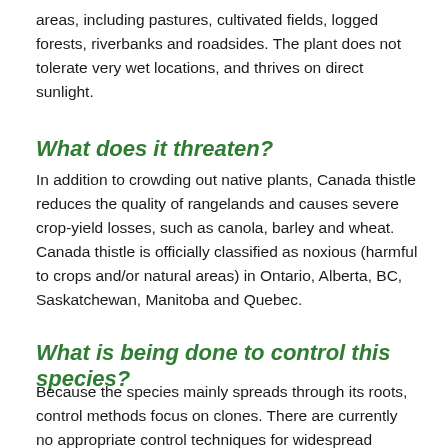areas, including pastures, cultivated fields, logged forests, riverbanks and roadsides. The plant does not tolerate very wet locations, and thrives on direct sunlight.
What does it threaten?
In addition to crowding out native plants, Canada thistle reduces the quality of rangelands and causes severe crop-yield losses, such as canola, barley and wheat. Canada thistle is officially classified as noxious (harmful to crops and/or natural areas) in Ontario, Alberta, BC, Saskatchewan, Manitoba and Quebec.
What is being done to control this species?
Because the species mainly spreads through its roots, control methods focus on clones. There are currently no appropriate control techniques for widespread eradication in natural areas,